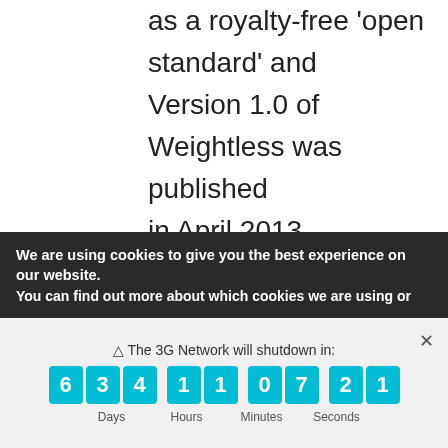as a royalty-free 'open standard' and Version 1.0 of Weightless was published in April 2013. Weightless SIG has since been working on the test and certification process to ensure that chips and equipment from a mix of suppliers will interoperate – important for a budding networking technology. Dedicated wireless networks for M2M
We are using cookies to give you the best experience on our website.
You can find out more about which cookies we are using or
⚠ The 3G Network will shutdown in: 6 3 4 1 1 0 7 2 1  Days Hours Minutes Seconds